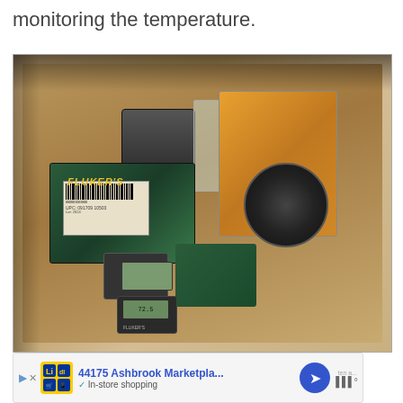monitoring the temperature.
[Figure (photo): A cardboard box viewed from above containing multiple packaged reptile temperature monitoring products including Fluker's brand thermometers and other temperature/humidity monitoring devices in their retail packaging.]
44175 Ashbrook Marketpla...   In-store shopping